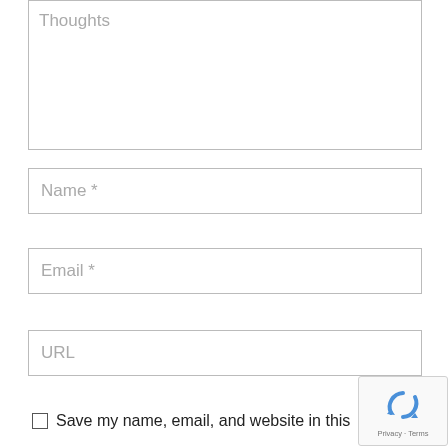[Figure (screenshot): Textarea input field with placeholder text 'Thoughts']
[Figure (screenshot): Text input field with placeholder text 'Name *']
[Figure (screenshot): Text input field with placeholder text 'Email *']
[Figure (screenshot): Text input field with placeholder text 'URL']
Save my name, email, and website in this
[Figure (logo): reCAPTCHA badge with Privacy and Terms link]